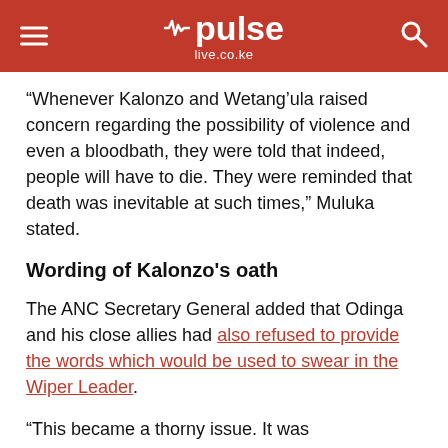pulse live.co.ke
“Whenever Kalonzo and Wetang’ula raised concern regarding the possibility of violence and even a bloodbath, they were told that indeed, people will have to die. They were reminded that death was inevitable at such times,” Muluka stated.
Wording of Kalonzo’s oath
The ANC Secretary General added that Odinga and his close allies had also refused to provide the words which would be used to swear in the Wiper Leader.
“This became a thorny issue. It was inconceivable that as senior Advocates of the High Court, Kalonzo and